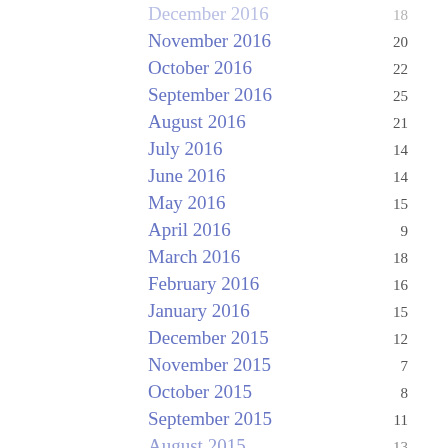November 2016 20
October 2016 22
September 2016 25
August 2016 21
July 2016 14
June 2016 14
May 2016 15
April 2016 9
March 2016 18
February 2016 16
January 2016 15
December 2015 12
November 2015 7
October 2015 8
September 2015 11
August 2015 13